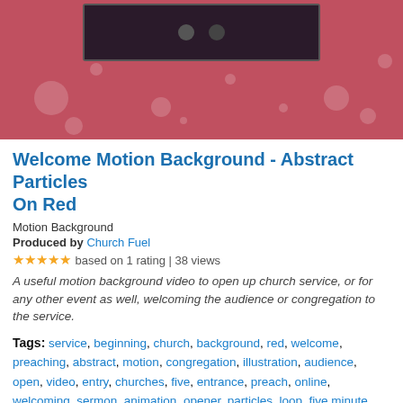[Figure (screenshot): Hero banner image showing a motion background video thumbnail with a dark video player frame on a pink/red abstract particles background]
Welcome Motion Background - Abstract Particles On Red
Motion Background
Produced by Church Fuel
★★★★★ based on 1 rating | 38 views
A useful motion background video to open up church service, or for any other event as well, welcoming the audience or congregation to the service.
Tags: service, beginning, church, background, red, welcome, preaching, abstract, motion, congregation, illustration, audience, open, video, entry, churches, five, entrance, preach, online, welcoming, sermon, animation, opener, particles, loop, five minute, opening, 5 minute, sermon, motion background, minutes, resource, in person, 5, preaching, church
Genres: Emotional, Powerful, Reflective, Uplifting